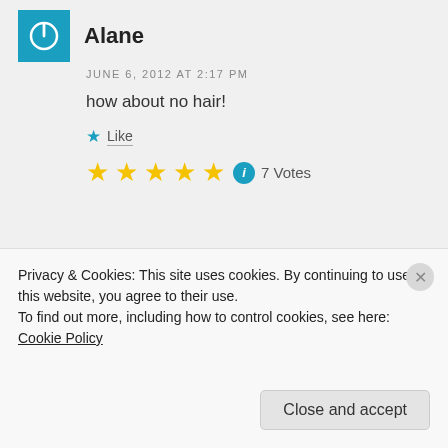Alane
JUNE 6, 2012 AT 2:17 PM
how about no hair!
★ Like
★★★★★ ⓘ 7 Votes
Karen Zgoda
JUNE 6, 2012 AT 2:32 PM
Privacy & Cookies: This site uses cookies. By continuing to use this website, you agree to their use.
To find out more, including how to control cookies, see here: Cookie Policy
Close and accept